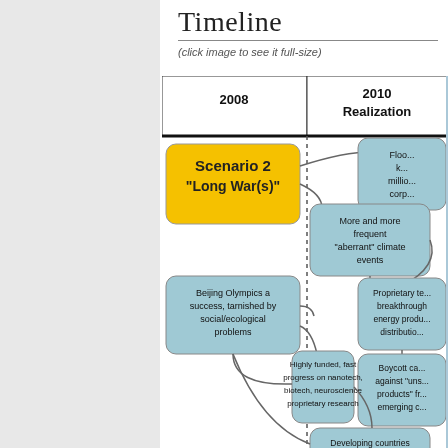Timeline
(click image to see it full-size)
[Figure (flowchart): Timeline flowchart showing Scenario 2 'Long War(s)' starting at 2008, with branching nodes at 2010 Realization column. Nodes include: 'More and more frequent aberrant climate events', 'Beijing Olympics a success, tarnished by social/ecological problems', 'Proprietary technology breakthrough in energy production distribution', 'Boycott campaign against unsustainable products from emerging countries', 'Highly funded, fast progress on nanotech, biotech, neuroscience proprietary research', 'Developing countries boycott final round of climate control talks (Kyoto II)', 'Rising demand push oil barrel to $150 with no sign of slowing down', 'Military in Venezuela (EU, Russia...)', 'Flooding kills millions, corporations...'. Yellow rounded rectangle for Scenario 2 label, blue-grey rounded rectangles for event nodes, connecting curved lines.]